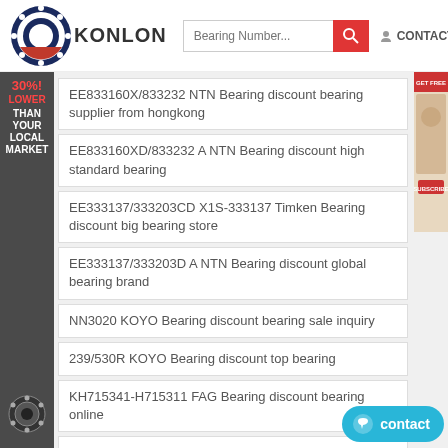[Figure (logo): Konlon bearing company logo with circular bearing graphic and KONLON text]
[Figure (screenshot): Search bar with 'Bearing Number...' placeholder and red search button]
CONTACT US
EE833160X/833232 NTN Bearing discount bearing supplier from hongkong
EE833160XD/833232 A NTN Bearing discount high standard bearing
EE333137/333203CD X1S-333137 Timken Bearing discount big bearing store
EE333137/333203D A NTN Bearing discount global bearing brand
NN3020 KOYO Bearing discount bearing sale inquiry
239/530R KOYO Bearing discount top bearing
KH715341-H715311 FAG Bearing discount bearing online
H242649/H242610 NSK Bearing discount reliable
UCP206-18SC KOYO Bearing discount bearing experts